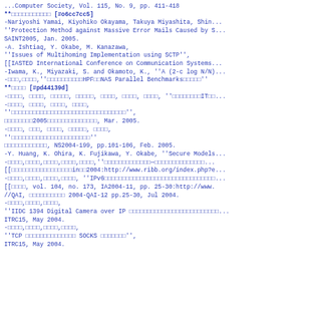...Computer Society, Vol. 115, No. 9, pp. 411-418
**□□□□□□□□□□□ [#o6cc7cc5]
-Nariyoshi Yamai, Kiyohiko Okayama, Takuya Miyashita, Shin...
''Protection Method against Massive Error Mails Caused by S...
SAINT2005, Jan. 2005.
-A. Ishtiaq, Y. Okabe, M. Kanazawa,
''Issues of Multihoming Implementation using SCTP'',
[[IASTED International Conference on Communication Systems...
-Iwama, K., Miyazaki, S. and Okamoto, K., ''A (2-c log N/N)...
-□□□,□□□□,''□□□□□□□□□□HPF□□NAS Parallel Benchmarks□□□□□''
**□□□□ [#pd44139d]
-□□□□, □□□□, □□□□□, □□□□□, □□□□, □□□□, □□□□, ''□□□□□□□□IT□□...
-□□□□, □□□□, □□□□, □□□□,
''□□□□□□□□□□□□□□□□□□□□□□□□□□□□□□□□'',
□□□□□□□□2005□□□□□□□□□□□□□□, Mar. 2005.
-□□□□, □□□, □□□□, □□□□□, □□□□,
''□□□□□□□□□□□□□□□□□□□□□□''
□□□□□□□□□□□□, NS2004-199, pp.101-106, Feb. 2005.
-Y. Huang, K. Ohira, K. Fujikawa, Y. Okabe, ''Secure Models...
-□□□□,□□□□,□□□□,□□□□,□□□□,''□□□□□□□□□□□□□─□□□□□□□□□□□□□□...
[[□□□□□□□□□□□□□□□□□in□□2004:http://www.ribb.org/index.php?e...
-□□□□,□□□□,□□□□,□□□□, ''IPv6□□□□□□□□□□□□□□□□□□□□□□□□□□□□□□□...
[[□□□□, vol. 104, no. 173, IA2004-11, pp. 25-30:http://www....
//QAI, □□□□□□□□□□ 2004-QAI-12 pp.25-30, Jul 2004.
-□□□□,□□□□,□□□□,
''IIDC 1394 Digital Camera over IP □□□□□□□□□□□□□□□□□□□□□□□□□...
ITRC15, May 2004.
-□□□□,□□□□,□□□□,□□□□,
''TCP □□□□□□□□□□□□□□ SOCKS □□□□□□□'',
ITRC15, May 2004.